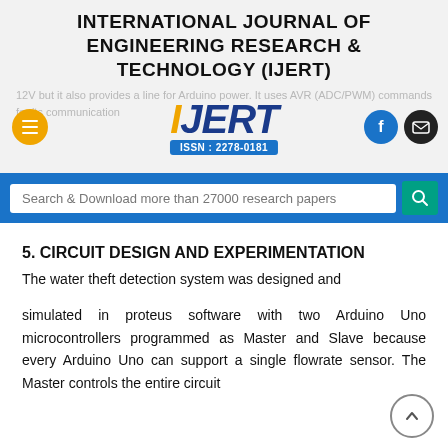INTERNATIONAL JOURNAL OF ENGINEERING RESEARCH & TECHNOLOGY (IJERT)
[Figure (logo): IJERT logo with ISSN: 2278-0181, overlaid on faded background text about 12V Arduino power and communication commands. Hamburger menu button (orange circle), Facebook button (blue circle), and mail button (black circle) are visible.]
[Figure (screenshot): Search bar with text 'Search & Download more than 27000 research papers' and a teal search button, on a blue background.]
5. CIRCUIT DESIGN AND EXPERIMENTATION
The water theft detection system was designed and
simulated in proteus software with two Arduino Uno microcontrollers programmed as Master and Slave because every Arduino Uno can support a single flowrate sensor. The Master controls the entire circuit